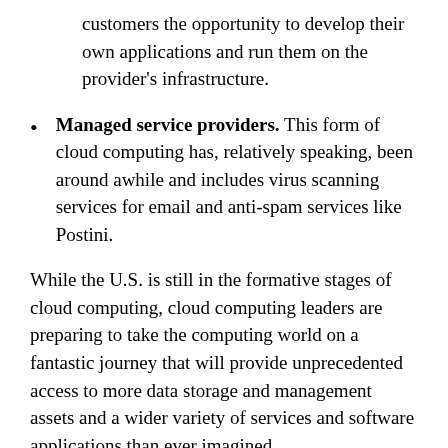customers the opportunity to develop their own applications and run them on the provider's infrastructure.
Managed service providers. This form of cloud computing has, relatively speaking, been around awhile and includes virus scanning services for email and anti-spam services like Postini.
While the U.S. is still in the formative stages of cloud computing, cloud computing leaders are preparing to take the computing world on a fantastic journey that will provide unprecedented access to more data storage and management assets and a wider variety of services and software applications than ever imagined.
[Figure (other): Broken/missing image placeholder]